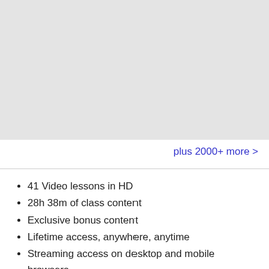[Figure (other): Gray placeholder image area at the top of the page]
plus 2000+ more >
41 Video lessons in HD
28h 38m of class content
Exclusive bonus content
Lifetime access, anywhere, anytime
Streaming access on desktop and mobile browsers